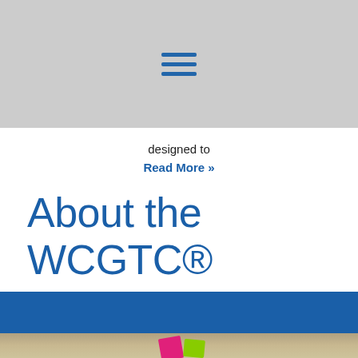[Figure (other): Hamburger menu icon with three horizontal blue lines on a gray background header bar]
designed to
Read More »
About the WCGTC®
[Figure (photo): Blue section bar with partial photo showing colorful sticky notes (pink, green) on a desk background]
This site uses cookies to improve your viewing experience.
Cookie settings
ACCEPT